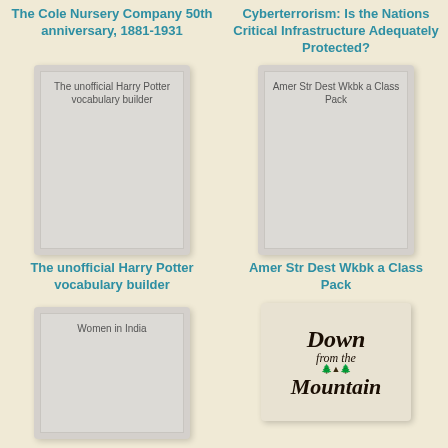The Cole Nursery Company 50th anniversary, 1881-1931
Cyberterrorism: Is the Nations Critical Infrastructure Adequately Protected?
[Figure (illustration): Book cover placeholder for 'The unofficial Harry Potter vocabulary builder']
[Figure (illustration): Book cover placeholder for 'Amer Str Dest Wkbk a Class Pack']
The unofficial Harry Potter vocabulary builder
Amer Str Dest Wkbk a Class Pack
[Figure (illustration): Book cover placeholder for 'Women in India']
[Figure (illustration): Book cover for 'Down from the Mountain' with stylized cursive text and tree illustration]